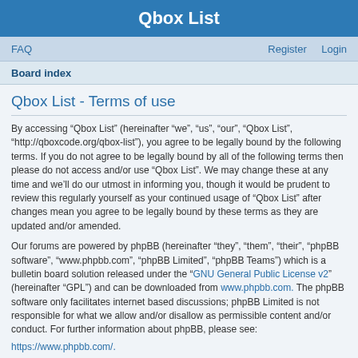Qbox List
FAQ    Register    Login
Board index
Qbox List - Terms of use
By accessing “Qbox List” (hereinafter “we”, “us”, “our”, “Qbox List”, “http://qboxcode.org/qbox-list”), you agree to be legally bound by the following terms. If you do not agree to be legally bound by all of the following terms then please do not access and/or use “Qbox List”. We may change these at any time and we’ll do our utmost in informing you, though it would be prudent to review this regularly yourself as your continued usage of “Qbox List” after changes mean you agree to be legally bound by these terms as they are updated and/or amended.
Our forums are powered by phpBB (hereinafter “they”, “them”, “their”, “phpBB software”, “www.phpbb.com”, “phpBB Limited”, “phpBB Teams”) which is a bulletin board solution released under the “GNU General Public License v2” (hereinafter “GPL”) and can be downloaded from www.phpbb.com. The phpBB software only facilitates internet based discussions; phpBB Limited is not responsible for what we allow and/or disallow as permissible content and/or conduct. For further information about phpBB, please see:
https://www.phpbb.com/.